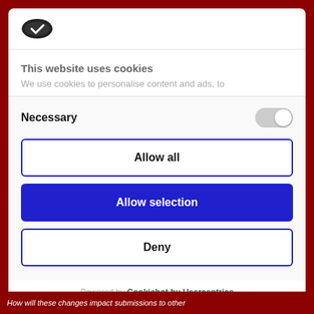[Figure (logo): Cookiebot logo — dark oval shape with checkmark]
This website uses cookies
We use cookies to personalise content and ads, to
Necessary
Allow all
Allow selection
Deny
Powered by Cookiebot by Usercentrics
How will these changes impact submissions to other